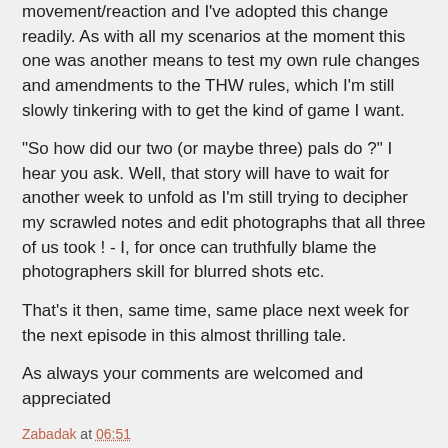movement/reaction and I've adopted this change readily. As with all my scenarios at the moment this one was another means to test my own rule changes and amendments to the THW rules, which I'm still slowly tinkering with to get the kind of game I want.
"So how did our two (or maybe three) pals do ?" I hear you ask. Well, that story will have to wait for another week to unfold as I'm still trying to decipher my scrawled notes and edit photographs that all three of us took ! - I, for once can truthfully blame the photographers skill for blurred shots etc.
That's it then, same time, same place next week for the next episode in this almost thrilling tale.
As always your comments are welcomed and appreciated
Zabadak at 06:51
Share
12